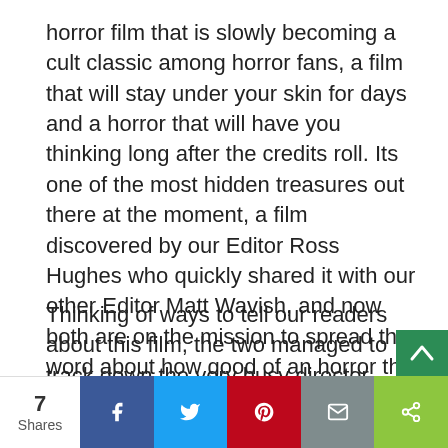horror film that is slowly becoming a cult classic among horror fans, a film that will stay under your skin for days and a horror that will have you thinking long after the credits roll. Its one of the most hidden treasures out there at the moment, a film discovered by our Editor Ross Hughes who quickly shared it with our other Editor Matt Wavish, and now both are on the mission to spread the word about how good of an horror this film is.
Thinking of ways to tell our readers about this film, the two managed to track down the very busy director Andrew Cull to talk about his movie and they were stunned that h